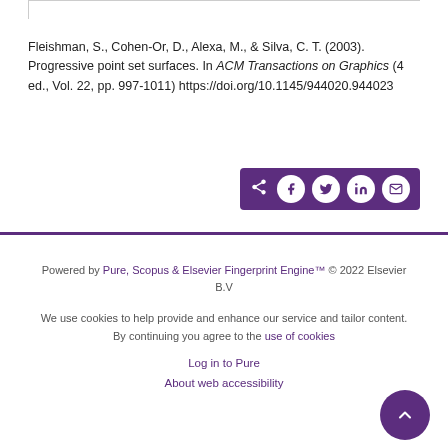Fleishman, S., Cohen-Or, D., Alexa, M., & Silva, C. T. (2003). Progressive point set surfaces. In ACM Transactions on Graphics (4 ed., Vol. 22, pp. 997-1011) https://doi.org/10.1145/944020.944023
[Figure (other): Social share bar with share, Facebook, Twitter, LinkedIn, and email icons on a dark purple background]
Powered by Pure, Scopus & Elsevier Fingerprint Engine™ © 2022 Elsevier B.V
We use cookies to help provide and enhance our service and tailor content. By continuing you agree to the use of cookies
Log in to Pure
About web accessibility